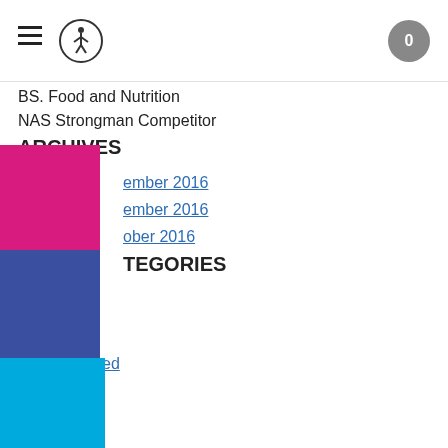Navigation header with hamburger menu, logo, and cart (0)
BS. Food and Nutrition
NAS Strongman Competitor
ARCHIVES
ember 2016
ember 2016
ober 2016
CATEGORIES
RSS Feed
@officialbringsnacks